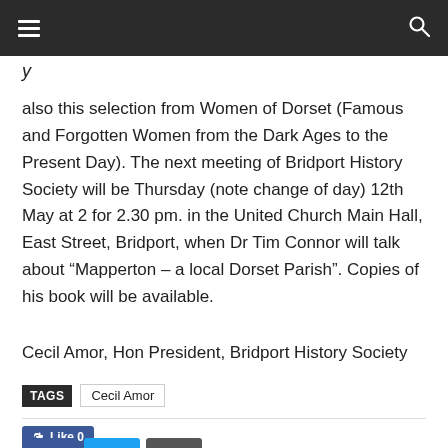[hamburger menu] [search icon]
y
also this selection from Women of Dorset (Famous and Forgotten Women from the Dark Ages to the Present Day). The next meeting of Bridport History Society will be Thursday (note change of day) 12th May at 2 for 2.30 pm. in the United Church Main Hall, East Street, Bridport, when Dr Tim Connor will talk about “Mapperton – a local Dorset Parish”. Copies of his book will be available.
Cecil Amor, Hon President, Bridport History Society
TAGS   Cecil Amor
[Figure (other): Like 0 Facebook button and social sharing buttons]